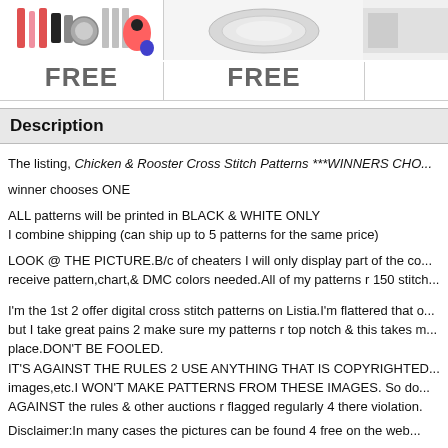[Figure (photo): Product image showing craft/nail art supplies with red, white and black items]
[Figure (photo): Product image showing jewelry/bracelet item on white background]
[Figure (photo): Partial product image cut off on right edge]
FREE
FREE
Description
The listing, Chicken & Rooster Cross Stitch Patterns ***WINNERS CHO...
winner chooses ONE
ALL patterns will be printed in BLACK & WHITE ONLY
I combine shipping (can ship up to 5 patterns for the same price)
LOOK @ THE PICTURE.B/c of cheaters I will only display part of the co... receive pattern,chart,& DMC colors needed.All of my patterns r 150 stitch...
I'm the 1st 2 offer digital cross stitch patterns on Listia.I'm flattered that o... but I take great pains 2 make sure my patterns r top notch & this takes m... place.DON'T BE FOOLED.
IT'S AGAINST THE RULES 2 USE ANYTHING THAT IS COPYRIGHTED... images,etc.I WON'T MAKE PATTERNS FROM THESE IMAGES. So do... AGAINST the rules & other auctions r flagged regularly 4 there violation.
Disclaimer:In many cases the pictures can be found 4 free on the web...